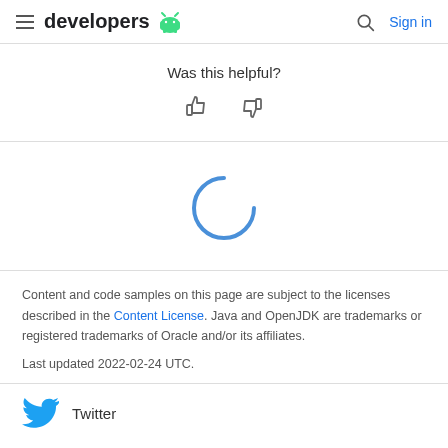developers  Sign in
Was this helpful?
[Figure (other): Loading spinner - a circular arc in blue indicating content is loading]
Content and code samples on this page are subject to the licenses described in the Content License. Java and OpenJDK are trademarks or registered trademarks of Oracle and/or its affiliates.
Last updated 2022-02-24 UTC.
Twitter